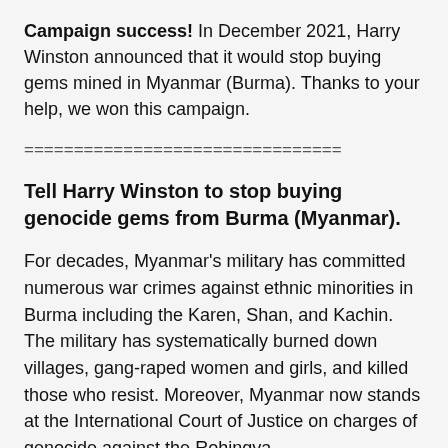Campaign success! In December 2021, Harry Winston announced that it would stop buying gems mined in Myanmar (Burma). Thanks to your help, we won this campaign.
================================
Tell Harry Winston to stop buying genocide gems from Burma (Myanmar).
For decades, Myanmar's military has committed numerous war crimes against ethnic minorities in Burma including the Karen, Shan, and Kachin. The military has systematically burned down villages, gang-raped women and girls, and killed those who resist. Moreover, Myanmar now stands at the International Court of Justice on charges of genocide against the Rohingya.